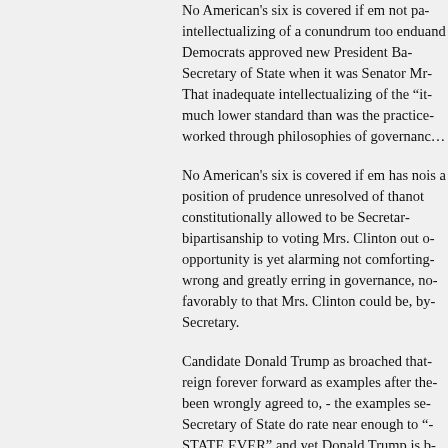No American's six is covered if em not pa... intellectualizing of a conundrum too endu... and Democrats approved new President Ba... Secretary of State when it was Senator Mrs... That inadequate intellectualizing of the “it... much lower standard than was the practice... worked through philosophies of governanc...
No American's six is covered if em has no... is a position of prudence unresolved of tha... not constitutionally allowed to be Secretar... bipartisanship to voting Mrs. Clinton out o... opportunity is yet alarming not comforting... wrong and greatly erring in governance, no... favorably to that Mrs. Clinton could be, by... Secretary.
Candidate Donald Trump as broached that... reign forever forward as examples after the... been wrongly agreed to, - the examples se... Secretary of State do rate near enough to “... STATE EVER” and yet Donald Trump is b... tease upon the culpas of Clinton, and as we... facts) as say candidate Governor Jeb Bush... Clinton would “squash” candidate Trump...